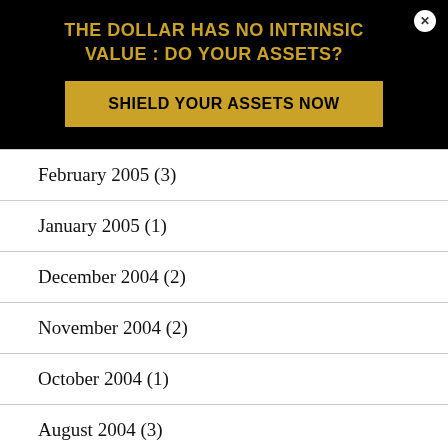THE DOLLAR HAS NO INTRINSIC VALUE : DO YOUR ASSETS?
SHIELD YOUR ASSETS NOW
February 2005 (3)
January 2005 (1)
December 2004 (2)
November 2004 (2)
October 2004 (1)
August 2004 (3)
June 2004 (2)
May 2004 (1)